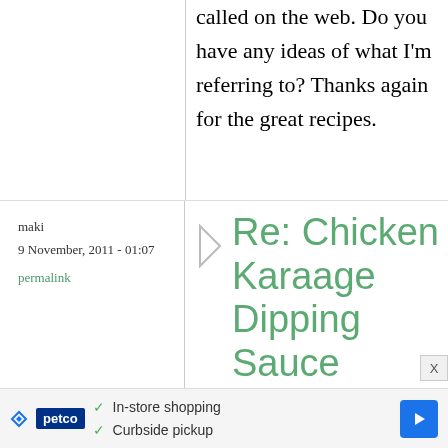called on the web. Do you have any ideas of what I'm referring to? Thanks again for the great recipes.
maki
9 November, 2011 - 01:07
permalink
Re: Chicken Karaage Dipping Sauce